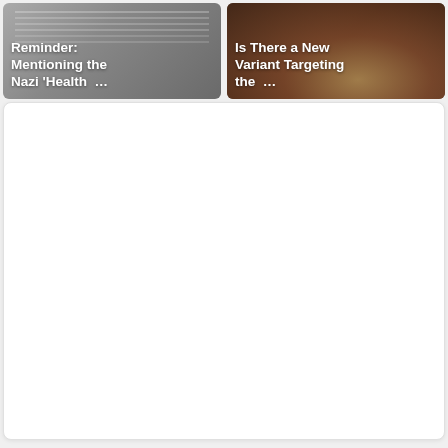[Figure (screenshot): Article thumbnail card with grey/document background showing bold white text: 'Reminder: Mentioning the Nazi ‘Health …']
[Figure (screenshot): Article thumbnail card with crowd photo background showing bold white text: 'Is There a New Variant Targeting the …']
[Figure (screenshot): White rectangular card/placeholder with rounded corners and light border, appears to be an empty content area or advertisement placeholder]